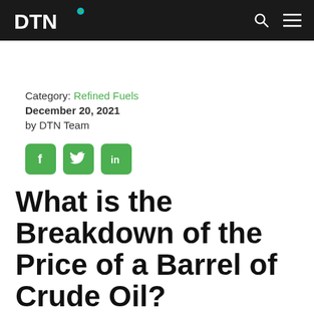DTN
Category: Refined Fuels
December 20, 2021
by DTN Team
[Figure (other): Social media sharing icons: Facebook, Twitter, LinkedIn (green rounded square buttons)]
What is the Breakdown of the Price of a Barrel of Crude Oil?